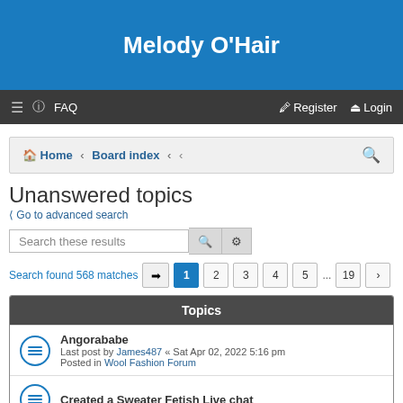Melody O'Hair
≡  ? FAQ    Register  Login
Home · Board index · ‹ ‹
Unanswered topics
❮ Go to advanced search
Search these results
Search found 568 matches  1 2 3 4 5 … 19 >
| Topics |
| --- |
| Angorababe | Last post by James487 « Sat Apr 02, 2022 5:16 pm | Posted in Wool Fashion Forum |
| Created a Sweater Fetish Live chat |  |  |